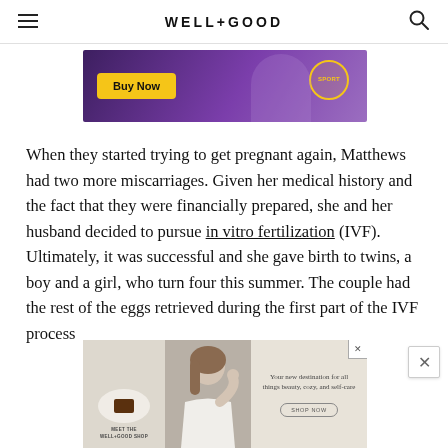WELL+GOOD
[Figure (screenshot): Top advertisement banner with purple background, yellow 'Buy Now' button, and SPORT badge on the right]
When they started trying to get pregnant again, Matthews had two more miscarriages. Given her medical history and the fact that they were financially prepared, she and her husband decided to pursue in vitro fertilization (IVF). Ultimately, it was successful and she gave birth to twins, a boy and a girl, who turn four this summer. The couple had the rest of the eggs retrieved during the first part of the IVF process
[Figure (screenshot): Bottom advertisement for WELL+GOOD SHOP featuring a candle on a plate, a woman touching her hair, and text 'Your new destination for all things beauty, cozy, and self-care' with a SHOP NOW button]